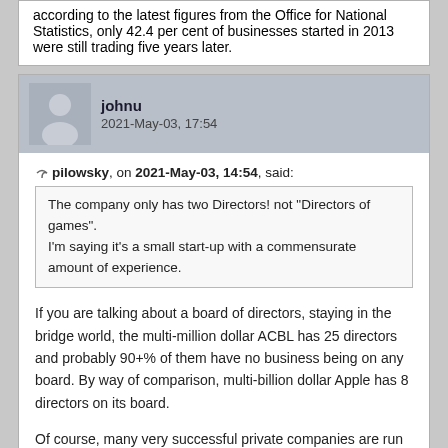according to the latest figures from the Office for National Statistics, only 42.4 per cent of businesses started in 2013 were still trading five years later.
johnu
2021-May-03, 17:54
pilowsky, on 2021-May-03, 14:54, said:
The company only has two Directors! not "Directors of games". I'm saying it's a small start-up with a commensurate amount of experience.
If you are talking about a board of directors, staying in the bridge world, the multi-million dollar ACBL has 25 directors and probably 90+% of them have no business being on any board. By way of comparison, multi-billion dollar Apple has 8 directors on its board.
Of course, many very successful private companies are run by their founder and owner without any board of directors.